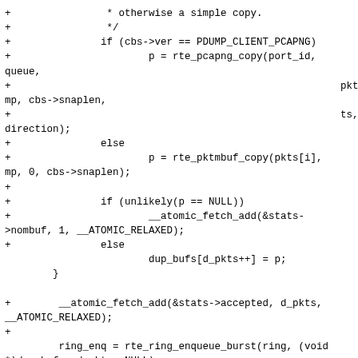+                * otherwise a simple copy.
+                */
+               if (cbs->ver == PDUMP_CLIENT_PCAPNG)
+                       p = rte_pcapng_copy(port_id,
queue,
+                                                       pkts[i],
mp, cbs->snaplen,
+                                                       ts,
direction);
+               else
+                       p = rte_pktmbuf_copy(pkts[i],
mp, 0, cbs->snaplen);
+
+               if (unlikely(p == NULL))
+                       __atomic_fetch_add(&stats-
>nombuf, 1, __ATOMIC_RELAXED);
+               else
                        dup_bufs[d_pkts++] = p;
        }

+        __atomic_fetch_add(&stats->accepted, d_pkts,
__ATOMIC_RELAXED);
+
         ring_enq = rte_ring_enqueue_burst(ring, (void
*)dup_bufs, d_pkts, NULL);
         if (unlikely(ring_enq < d_pkts)) {
                 unsigned int drops = d_pkts - ring_enq;

-                PDUMP_LOG(DEBUG,
-                        "only %d of packets enqueued to